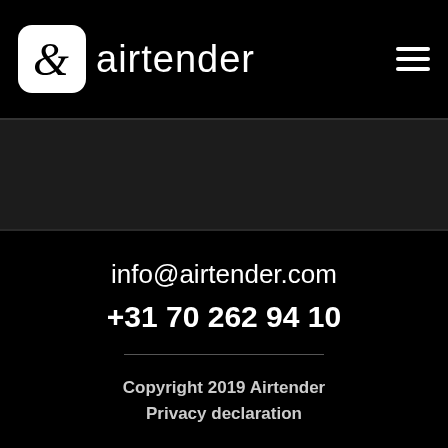airtender
info@airtender.com
+31 70 262 94 10
Copyright 2019 Airtender
Privacy declaration